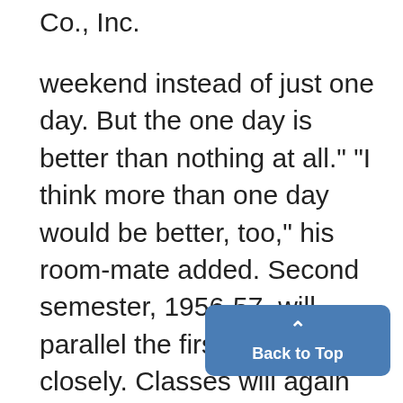Co., Inc.
weekend instead of just one day. But the one day is better than nothing at all." "I think more than one day would be better, too," his room-mate added. Second semester, 1956-57, will parallel the first semester closely. Classes will again begin on a Thursday (Feb. 7) and end on a Wednesday (May 29). However, next year's spring se-